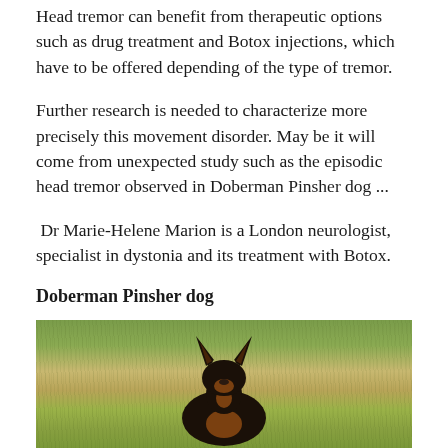Head tremor can benefit from therapeutic options such as drug treatment and Botox injections, which have to be offered depending of the type of tremor.
Further research is needed to characterize more precisely this movement disorder. May be it will come from unexpected study such as the episodic head tremor observed in Doberman Pinsher dog ...
Dr Marie-Helene Marion is a London neurologist, specialist in dystonia and its treatment with Botox.
Doberman Pinsher dog
[Figure (photo): Photo of a Doberman Pinsher dog sitting in a grassy field, viewed from behind, showing its pointed ears and dark coat with tan markings, against a background of dry grass and green grass.]